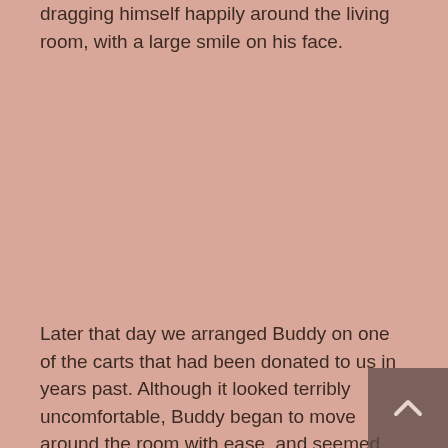dragging himself happily around the living room, with a large smile on his face.
Later that day we arranged Buddy on one of the carts that had been donated to us in years past. Although it looked terribly uncomfortable, Buddy began to move around the room with ease, and seemed genuinely pleased with himself. At that point we knew that Buddy was going to be around for a long, long time - and we knew that he needed a "wheelchair" of his own. An email was sent to Eddie's Wheels in